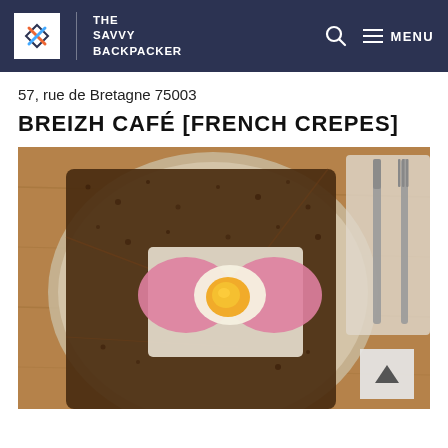THE SAVVY BACKPACKER
57, rue de Bretagne 75003
BREIZH CAFÉ [FRENCH CREPES]
[Figure (photo): Overhead photo of a French galette (buckwheat crepe) folded into a square on a ceramic plate, filled with pink ham, a fried egg, and white cheese, alongside a knife and fork on a wooden table]